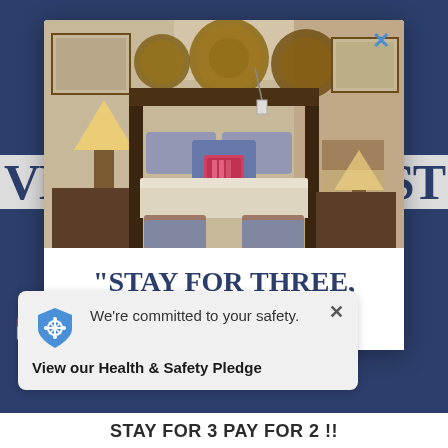[Figure (photo): Hotel room interior showing a bed with decorative pillows, wicker baskets on wall, lamps, and seating. Displayed inside a popup modal card on a travel/hotel website.]
"STAY FOR THREE, PAY
[Figure (infographic): Health and safety popup notification with a blue shield icon, text 'We're committed to your safety.' and a link 'View our Health & Safety Pledge'. Has an X close button.]
STAY FOR 3 PAY FOR 2 !!